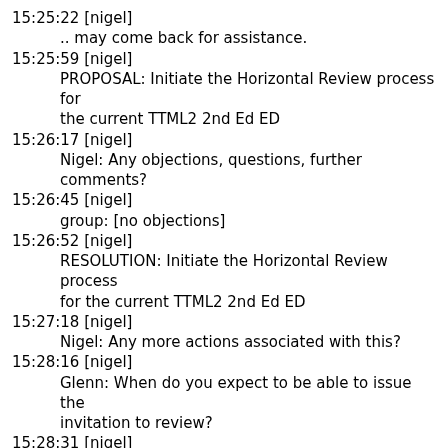15:25:22 [nigel]
        .. may come back for assistance.
15:25:59 [nigel]
        PROPOSAL: Initiate the Horizontal Review process for the current TTML2 2nd Ed ED
15:26:17 [nigel]
        Nigel: Any objections, questions, further comments?
15:26:45 [nigel]
        group: [no objections]
15:26:52 [nigel]
        RESOLUTION: Initiate the Horizontal Review process for the current TTML2 2nd Ed ED
15:27:18 [nigel]
        Nigel: Any more actions associated with this?
15:28:16 [nigel]
        Glenn: When do you expect to be able to issue the invitation to review?
15:28:31 [nigel]
        Nigel: It'd better be before the end of next week since I'm on vacation for a couple of weeks after that.
15:29:12 [nigel]
        Glenn: 15th October?
15:29:18 [nigel]
        Nigel: 16th is more likely!
15:29:20 [nigel]